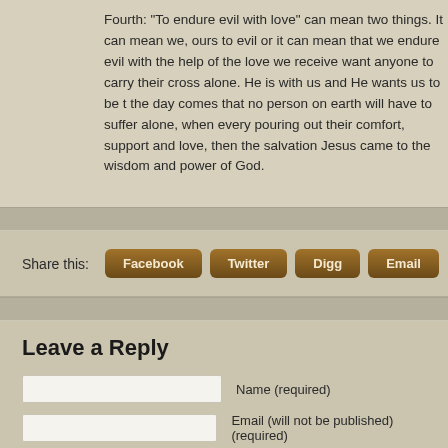Fourth: “To endure evil with love” can mean two things. It can mean we, ours to evil or it can mean that we endure evil with the help of the love we receive want anyone to carry their cross alone. He is with us and He wants us to be the day comes that no person on earth will have to suffer alone, when every pouring out their comfort, support and love, then the salvation Jesus came to the wisdom and power of God.
Share this: Facebook Twitter Digg Email
Leave a Reply
Name (required)
Email (will not be published) (required)